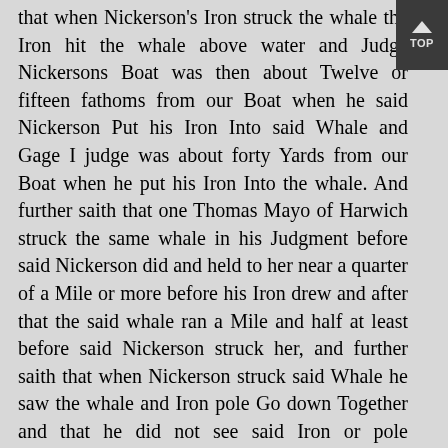that when Nickerson's Iron struck the whale the Iron hit the whale above water and Judge Nickersons Boat was then about Twelve or fifteen fathoms from our Boat when he said Nickerson Put his Iron Into said Whale and Gage I judge was about forty Yards from our Boat when he put his Iron Into the whale. And further saith that one Thomas Mayo of Harwich struck the same whale in his Judgment before said Nickerson did and held to her near a quarter of a Mile or more before his Iron drew and after that the said whale ran a Mile and half at least before said Nickerson struck her, and further saith that when Nickerson struck said Whale he saw the whale and Iron pole Go down Together and that he did not see said Iron or pole afterwards: further after Gage had forbid any Body's
[Figure (other): Navigation button with upward arrow and text TOP on dark background, positioned in top-right corner]